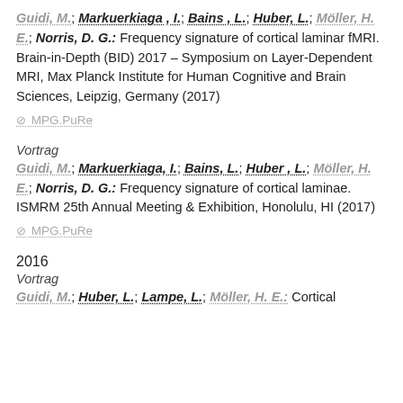Guidi, M.; Markuerkiaga , I.; Bains , L.; Huber, L.; Möller, H. E.; Norris, D. G.: Frequency signature of cortical laminar fMRI. Brain-in-Depth (BID) 2017 – Symposium on Layer-Dependent MRI, Max Planck Institute for Human Cognitive and Brain Sciences, Leipzig, Germany (2017)
MPG.PuRe
Vortrag
Guidi, M.; Markuerkiaga, I.; Bains, L.; Huber , L.; Möller, H. E.; Norris, D. G.: Frequency signature of cortical laminae. ISMRM 25th Annual Meeting & Exhibition, Honolulu, HI (2017)
MPG.PuRe
2016
Vortrag
Guidi, M.; Huber, L.; Lampe, L.; Möller, H. E.: Cortical